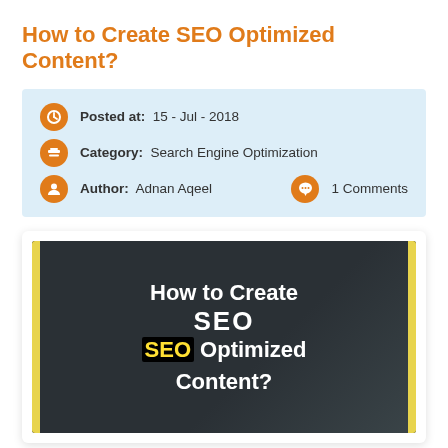How to Create SEO Optimized Content?
Posted at:  15 - Jul - 2018
Category:  Search Engine Optimization
Author:  Adnan Aqeel
1 Comments
[Figure (photo): Promotional image reading 'How to Create SEO Optimized Content?' with dark background, yellow vertical bars on left and right edges, white text and highlighted SEO in yellow on black]